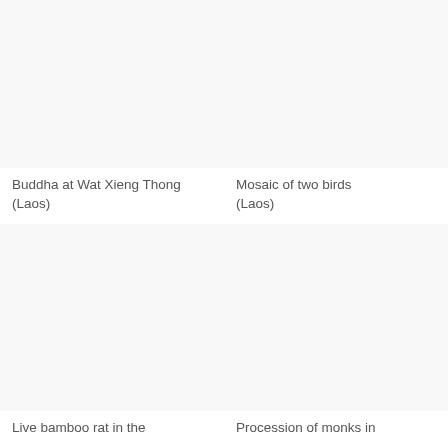[Figure (photo): Photo of Buddha at Wat Xieng Thong temple in Laos (top left)]
Buddha at Wat Xieng Thong (Laos)
[Figure (photo): Photo of mosaic of two birds in Laos (top right)]
Mosaic of two birds (Laos)
[Figure (photo): Photo of live bamboo rat in the (bottom left, caption cut off)]
Live bamboo rat in the
[Figure (photo): Photo of procession of monks in (bottom right, caption cut off)]
Procession of monks in